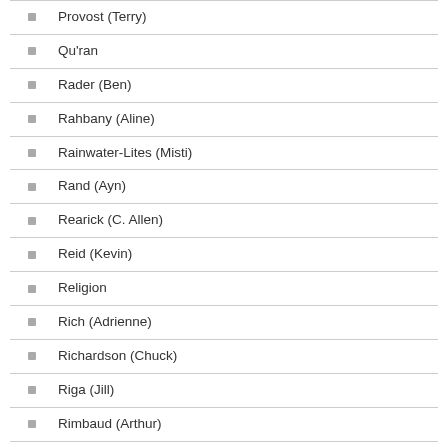Provost (Terry)
Qu'ran
Rader (Ben)
Rahbany (Aline)
Rainwater-Lites (Misti)
Rand (Ayn)
Rearick (C. Allen)
Reid (Kevin)
Religion
Rich (Adrienne)
Richardson (Chuck)
Riga (Jill)
Rimbaud (Arthur)
Robare (Libby)
Robinson (Nicole)